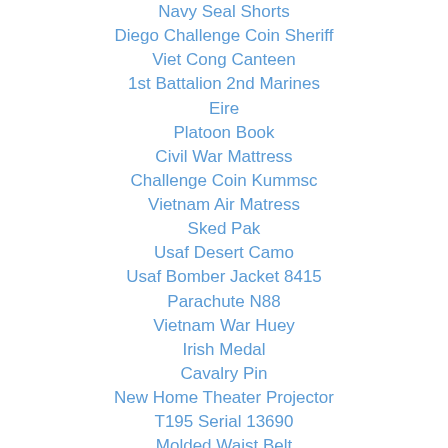Navy Seal Shorts
Diego Challenge Coin Sheriff
Viet Cong Canteen
1st Battalion 2nd Marines
Eire
Platoon Book
Civil War Mattress
Challenge Coin Kummsc
Vietnam Air Matress
Sked Pak
Usaf Desert Camo
Usaf Bomber Jacket 8415
Parachute N88
Vietnam War Huey
Irish Medal
Cavalry Pin
New Home Theater Projector
T195 Serial 13690
Molded Waist Belt
Medal
Privacy
Ww2 Shovel